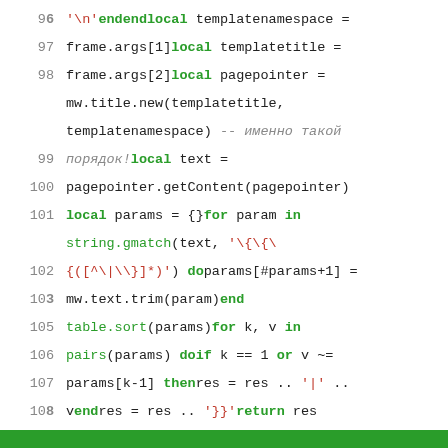[Figure (screenshot): Code editor screenshot showing Lua script lines 96-110 with syntax highlighting. Green keywords (local, for, in, do, end, then, return), red strings, grey comments in italic Cyrillic, line numbers on left.]